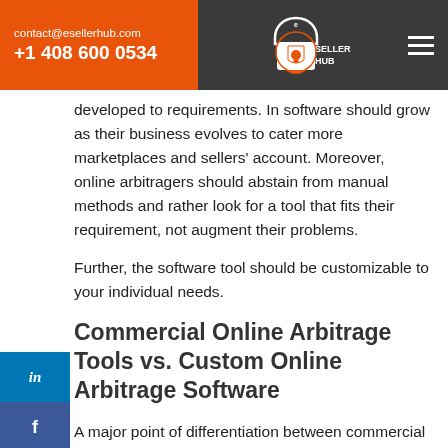contact@esellerhub.com +1 408 600 0534
developed to requirements. In software should grow as their business evolves to cater more marketplaces and sellers' account. Moreover, online arbitragers should abstain from manual methods and rather look for a tool that fits their requirement, not augment their problems.
Further, the software tool should be customizable to your individual needs.
Commercial Online Arbitrage Tools vs. Custom Online Arbitrage Software
A major point of differentiation between commercial online arbitrage tools and custom tools is this that you need to hire an ecommerce developer or an ecommerce development company to carry on the software development as per your business requirements. Commercial online arbitrage tools, on the other hand, are